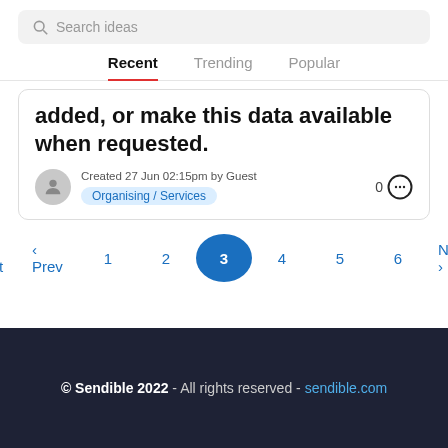[Figure (screenshot): Search bar with magnifier icon and placeholder text 'Search ideas']
Recent  Trending  Popular
added, or make this data available when requested.
Created 27 Jun 02:15pm by Guest
Organising / Services
0
« First  ‹ Prev  1  2  3  4  5  6  Next ›
© Sendible 2022 - All rights reserved - sendible.com